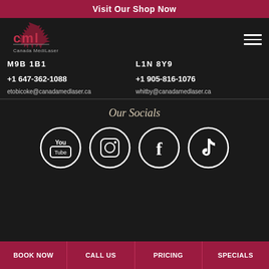Visit Our Shop Now
[Figure (logo): Canada MediLaser logo with maple leaf and 'cml' text]
M9B 1B1
L1N 8Y9
+1 647-362-1088
+1 905-816-1076
etobicoke@canadamedlaser.ca
whitby@canadamedlaser.ca
Our Socials
[Figure (logo): YouTube icon circle]
[Figure (logo): Instagram icon circle]
[Figure (logo): Facebook icon circle]
[Figure (logo): TikTok icon circle]
BOOK NOW | CALL US | PRICING | SPECIALS